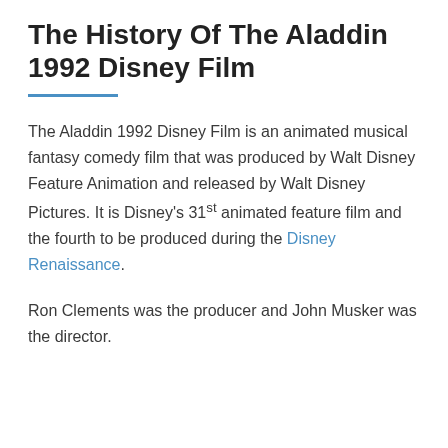The History Of The Aladdin 1992 Disney Film
The Aladdin 1992 Disney Film is an animated musical fantasy comedy film that was produced by Walt Disney Feature Animation and released by Walt Disney Pictures. It is Disney's 31st animated feature film and the fourth to be produced during the Disney Renaissance.
Ron Clements was the producer and John Musker was the director.